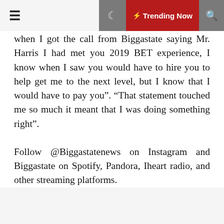≡  ☽  ⚡ Trending Now  🔍
when I got the call from Biggastate saying Mr. Harris I had met you 2019 BET experience, I know when I saw you would have to hire you to help get me to the next level, but I know that I would have to pay you". “That statement touched me so much it meant that I was doing something right".
Follow @Biggastatenews on Instagram and Biggastate on Spotify, Pandora, Iheart radio, and other streaming platforms.